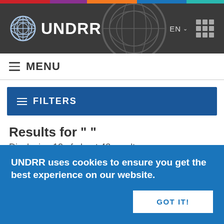[Figure (screenshot): UNDRR website header with UN emblem logo, site name UNDRR, EN language selector, and grid icon on dark background]
☰  MENU
☰  FILTERS
Results for " "
Displaying 10 of about 43 results
SEARCH
UNDRR uses cookies to ensure you get the best experience on our website.